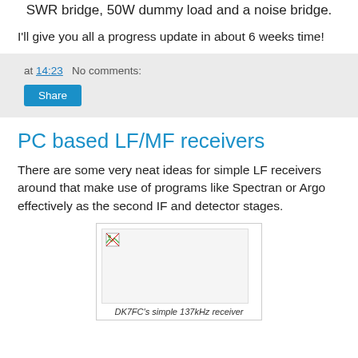SWR bridge, 50W dummy load and a noise bridge.
I'll give you all a progress update in about 6 weeks time!
at 14:23   No comments:
PC based LF/MF receivers
There are some very neat ideas for simple LF receivers around that make use of programs like Spectran or Argo effectively as the second IF and detector stages.
[Figure (photo): Broken image placeholder for DK7FC's simple 137kHz receiver]
DK7FC's simple 137kHz receiver